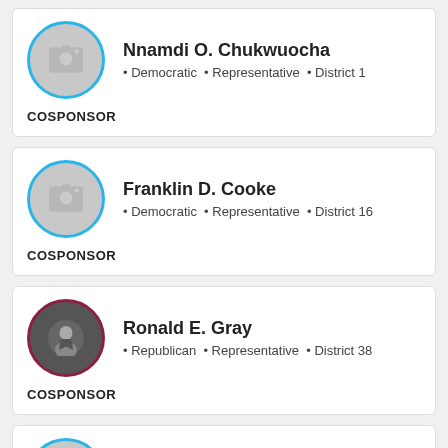Nnamdi O. Chukwuocha · Democratic · Representative · District 1 · COSPONSOR
Franklin D. Cooke · Democratic · Representative · District 16 · COSPONSOR
Ronald E. Gray · Republican · Representative · District 38 · COSPONSOR
Debra Heffernan · Democratic · Representative · District 6